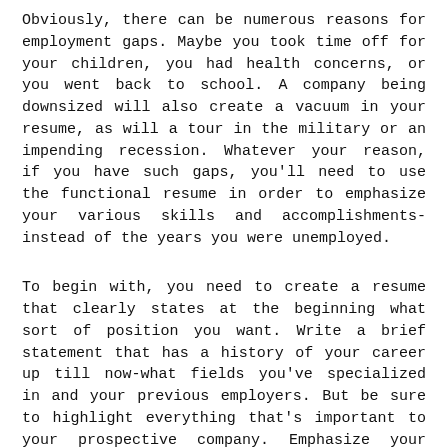Obviously, there can be numerous reasons for employment gaps. Maybe you took time off for your children, you had health concerns, or you went back to school. A company being downsized will also create a vacuum in your resume, as will a tour in the military or an impending recession. Whatever your reason, if you have such gaps, you'll need to use the functional resume in order to emphasize your various skills and accomplishments-instead of the years you were unemployed.
To begin with, you need to create a resume that clearly states at the beginning what sort of position you want. Write a brief statement that has a history of your career up till now-what fields you've specialized in and your previous employers. But be sure to highlight everything that's important to your prospective company. Emphasize your leadership experience and managerial skills that coincide with what the hiring manager is looking for.